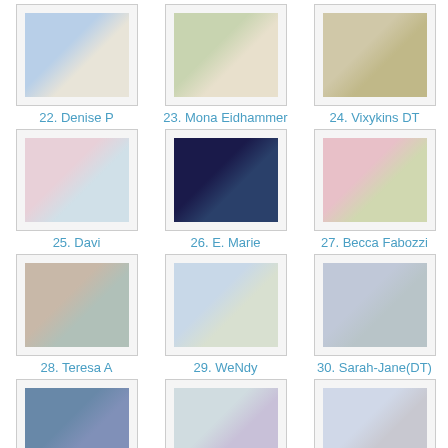[Figure (photo): Thumbnail image 22 - crafting project]
22. Denise P
[Figure (photo): Thumbnail image 23 - crafting project]
23. Mona Eidhammer
[Figure (photo): Thumbnail image 24 - crafting project]
24. Vixykins DT
[Figure (photo): Thumbnail image 25 - crafting project]
25. Davi
[Figure (photo): Thumbnail image 26 - crafting project]
26. E. Marie
[Figure (photo): Thumbnail image 27 - crafting project]
27. Becca Fabozzi
[Figure (photo): Thumbnail image 28 - crafting project]
28. Teresa A
[Figure (photo): Thumbnail image 29 - crafting project]
29. WeNdy
[Figure (photo): Thumbnail image 30 - crafting project]
30. Sarah-Jane(DT)
[Figure (photo): Thumbnail image 31 - crafting project]
31. Cynthia
[Figure (photo): Thumbnail image 32 - crafting project]
32. Linda Roberts DT
[Figure (photo): Thumbnail image 33 - crafting project]
33. Pöydän kulmalla näpertelijä
[Figure (photo): Thumbnail image 34 - crafting project]
[Figure (photo): Thumbnail image 35 - crafting project]
[Figure (photo): Thumbnail image 36 - crafting project]